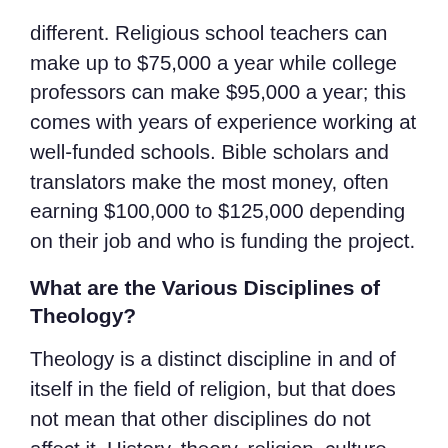different. Religious school teachers can make up to $75,000 a year while college professors can make $95,000 a year; this comes with years of experience working at well-funded schools. Bible scholars and translators make the most money, often earning $100,000 to $125,000 depending on their job and who is funding the project.
What are the Various Disciplines of Theology?
Theology is a distinct discipline in and of itself in the field of religion, but that does not mean that other disciplines do not affect it. History, theory, religion, culture, archaeology, anthropology, politics, psychology, and sociology all play a role